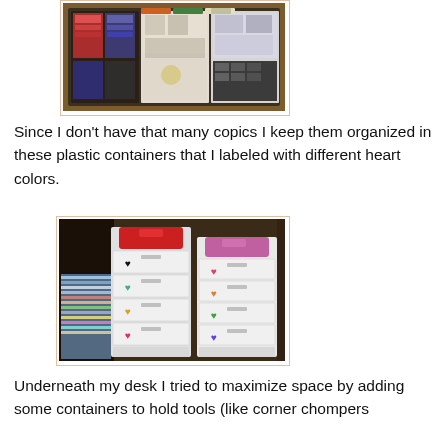[Figure (photo): Photo of craft supplies laid out in an open case or tray, showing stickers, papers, and embellishments organized in sections]
Since I don't have that many copics I keep them organized in these plastic containers that I labeled with different heart colors.
[Figure (photo): Photo of two small multi-drawer plastic storage units with colored heart labels on the drawers, used to organize copic markers]
Underneath my desk I tried to maximize space by adding some containers to hold tools (like corner chompers